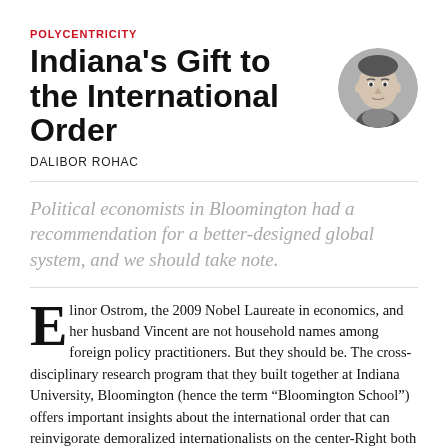POLYCENTRICITY
Indiana's Gift to the International Order
DALIBOR ROHAC
[Figure (photo): Black and white circular portrait photo of Dalibor Rohac]
Political economists in Bloomington had a recommendation for a better-designed global system, and we should take note.
Elinor Ostrom, the 2009 Nobel Laureate in economics, and her husband Vincent are not household names among foreign policy practitioners. But they should be. The cross-disciplinary research program that they built together at Indiana University, Bloomington (hence the term “Bloomington School”) offers important insights about the international order that can reinvigorate demoralized internationalists on the center-Right both in Europe and in the United